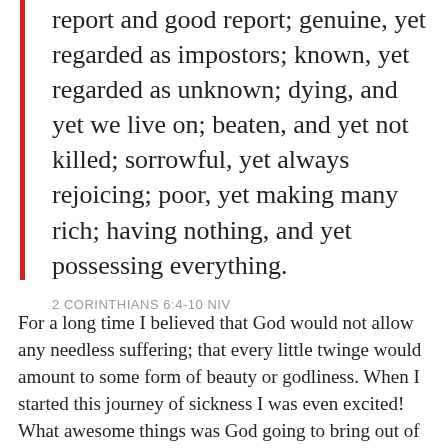report and good report; genuine, yet regarded as impostors; known, yet regarded as unknown; dying, and yet we live on; beaten, and yet not killed; sorrowful, yet always rejoicing; poor, yet making many rich; having nothing, and yet possessing everything.
2 CORINTHIANS 6:4-10 NIV
For a long time I believed that God would not allow any needless suffering; that every little twinge would amount to some form of beauty or godliness. When I started this journey of sickness I was even excited! What awesome things was God going to bring out of this? The first few months were hard... I was very sad when the first round of chemo did nothing... but I was still sure God had a plan, and it was good. As